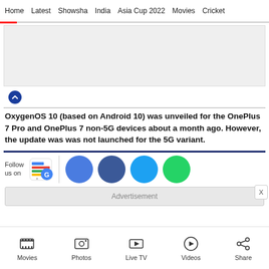Home  Latest  Showsha  India  Asia Cup 2022  Movies  Cricket
[Figure (other): Advertisement placeholder gray box]
OxygenOS 10 (based on Android 10) was unveiled for the OnePlus 7 Pro and OnePlus 7 non-5G devices about a month ago. However, the update was was not launched for the 5G variant.
[Figure (other): Follow us on social media bar with Google News icon and social media circle buttons (blue, dark blue, cyan, green)]
Advertisement
Movies  Photos  Live TV  Videos  Share